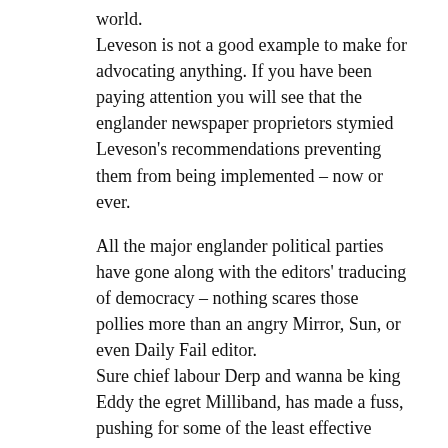world. Leveson is not a good example to make for advocating anything. If you have been paying attention you will see that the englander newspaper proprietors stymied Leveson's recommendations preventing them from being implemented – now or ever.
All the major englander political parties have gone along with the editors' traducing of democracy – nothing scares those pollies more than an angry Mirror, Sun, or even Daily Fail editor. Sure chief labour Derp and wanna be king Eddy the egret Milliband, has made a fuss, pushing for some of the least effective recommendations, but he knows nothing will come of it. Doubtless he hopes the fish-wraps' owners won't take it too personal – they will comprehend that he has to be seen to oppose nasty Dave Cameron. In the tweedledee Vs tweedledum phoney war of the neo-libs.
I just cannot get my head around the dream world so many of us live in.